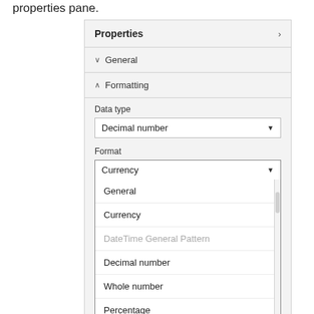properties pane.
[Figure (screenshot): Properties panel UI screenshot showing General and Formatting sections. Data type dropdown set to 'Decimal number'. Format dropdown open showing options: General, Currency, DateTime General Pattern (grayed), Decimal number, Whole number, Percentage, Scientific.]